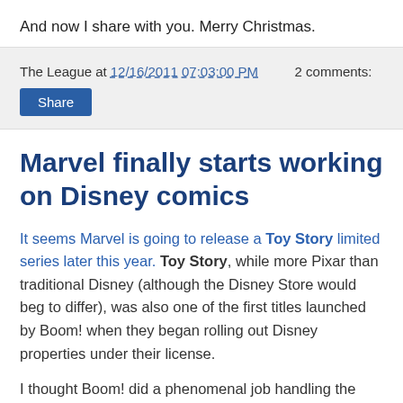And now I share with you. Merry Christmas.
The League at 12/16/2011 07:03:00 PM   2 comments:
Share
Marvel finally starts working on Disney comics
It seems Marvel is going to release a Toy Story limited series later this year. Toy Story, while more Pixar than traditional Disney (although the Disney Store would beg to differ), was also one of the first titles launched by Boom! when they began rolling out Disney properties under their license.
I thought Boom! did a phenomenal job handling the Disney properties. Maybe TOO phenomenal as I spent a lot of